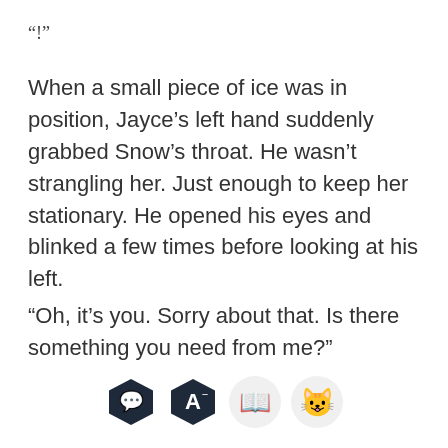“!”
When a small piece of ice was in position, Jayce’s left hand suddenly grabbed Snow’s throat. He wasn’t strangling her. Just enough to keep her stationary. He opened his eyes and blinked a few times before looking at his left.
“Oh, it’s you. Sorry about that. Is there something you need from me?”
[Figure (screenshot): App toolbar with four icons: chat bubble hexagon, letter A hexagon, orange book icon, and smiling emoji face icon]